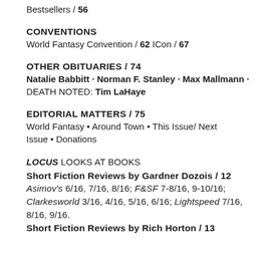Bestsellers / 56
CONVENTIONS
World Fantasy Convention / 62 ICon / 67
OTHER OBITUARIES / 74
Natalie Babbitt · Norman F. Stanley · Max Mallmann · DEATH NOTED: Tim LaHaye
EDITORIAL MATTERS / 75
World Fantasy • Around Town • This Issue/ Next Issue • Donations
LOCUS LOOKS AT BOOKS
Short Fiction Reviews by Gardner Dozois / 12
Asimov's 6/16, 7/16, 8/16; F&SF 7-8/16, 9-10/16; Clarkesworld 3/16, 4/16, 5/16, 6/16; Lightspeed 7/16, 8/16, 9/16.
Short Fiction Reviews by Rich Horton / 13